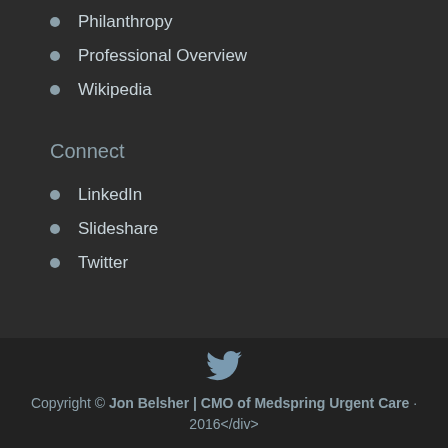Philanthropy
Professional Overview
Wikipedia
Connect
LinkedIn
Slideshare
Twitter
Copyright © Jon Belsher | CMO of Medspring Urgent Care · 2016</div>